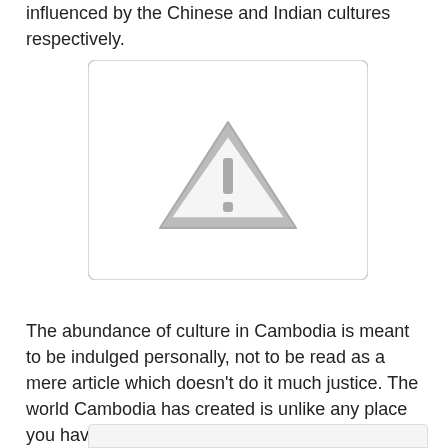influenced by the Chinese and Indian cultures respectively.
[Figure (other): Placeholder image with a warning triangle icon (gray triangle with exclamation mark) on a white background with light gray border and rounded corners.]
The abundance of culture in Cambodia is meant to be indulged personally, not to be read as a mere article which doesn’t do it much justice. The world Cambodia has created is unlike any place you have been to before. Dare to throw yourselves into a journey of excitement and adventure? You will not regret it.